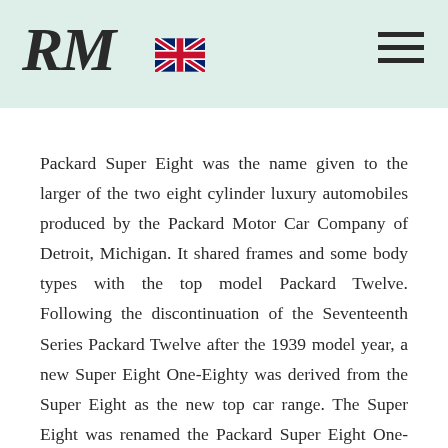RM [logo] [UK flag] [hamburger menu]
Packard Super Eight was the name given to the larger of the two eight cylinder luxury automobiles produced by the Packard Motor Car Company of Detroit, Michigan. It shared frames and some body types with the top model Packard Twelve. Following the discontinuation of the Seventeenth Series Packard Twelve after the 1939 model year, a new Super Eight One-Eighty was derived from the Super Eight as the new top car range. The Super Eight was renamed the Packard Super Eight One-Sixty. These two models shared most mechanical components including the 160